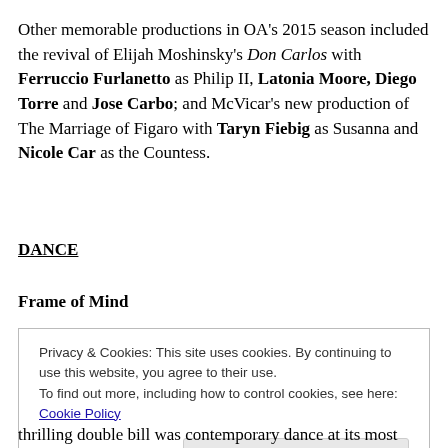Other memorable productions in OA's 2015 season included the revival of Elijah Moshinsky's Don Carlos with Ferruccio Furlanetto as Philip II, Latonia Moore, Diego Torre and Jose Carbo; and McVicar's new production of The Marriage of Figaro with Taryn Fiebig as Susanna and Nicole Car as the Countess.
DANCE
Frame of Mind
Privacy & Cookies: This site uses cookies. By continuing to use this website, you agree to their use.
To find out more, including how to control cookies, see here: Cookie Policy
Close and accept
thrilling double bill was contemporary dance at its most